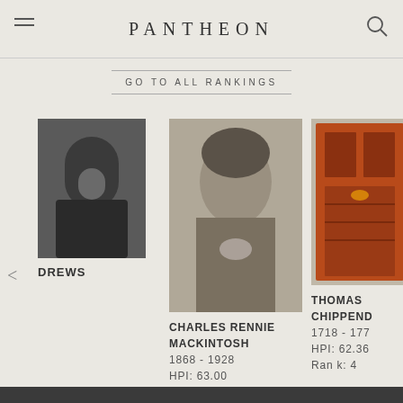PANTHEON
GO TO ALL RANKINGS
[Figure (photo): Partial black and white photo, person labeled DREWS]
DREWS
[Figure (photo): Black and white portrait photo of Charles Rennie Mackintosh]
CHARLES RENNIE MACKINTOSH
1868 - 1928
HPI: 63.00
Rank: 3
[Figure (photo): Partial color photo of an ornate red cabinet, Thomas Chippendale]
THOMAS CHIPPEND
1718 - 1779
HPI: 62.36
Rank: 4